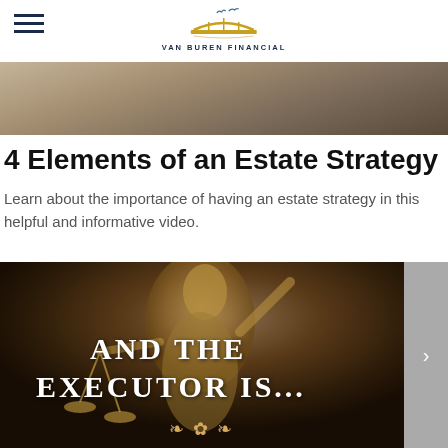VAN BUREN FINANCIAL
[Figure (photo): Top hero image showing a blurred document/paper background]
4 Elements of an Estate Strategy
Learn about the importance of having an estate strategy in this helpful and informative video.
[Figure (photo): Lady Justice blindfolded statue in gold/bronze with overlay text reading AND THE EXECUTOR IS... with decorative ornament, dark brown background]